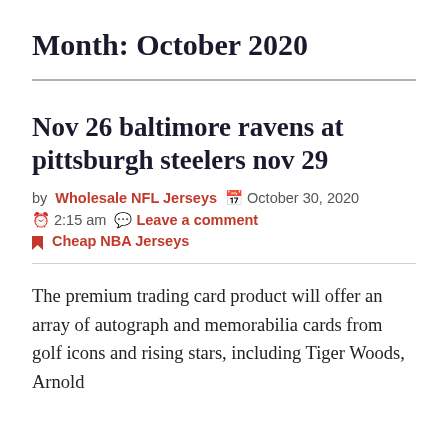Month: October 2020
Nov 26 baltimore ravens at pittsburgh steelers nov 29
by Wholesale NFL Jerseys  October 30, 2020  2:15 am  Leave a comment  Cheap NBA Jerseys
The premium trading card product will offer an array of autograph and memorabilia cards from golf icons and rising stars, including Tiger Woods, Arnold